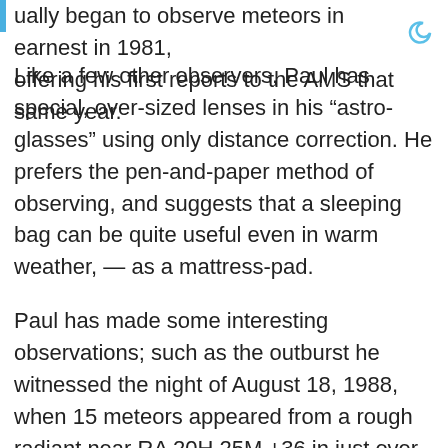ually began to observe meteors in earnest in 1981, offering his first reports to the AMS that same year.
Like a few other observers, Paul has special, over-sized lenses in his “astro-glasses” using only distance correction. He prefers the pen-and-paper method of observing, and suggests that a sleeping bag can be quite useful even in warm weather, — as a mattress-pad.
Paul has made some interesting observations; such as the outburst he witnessed the night of August 18, 1988, when 15 meteors appeared from a rough radiant near RA 20H 25M +36 in just over a four-hour period. He’s also endured some frigid weather while observing, e.g., the windy Geminid maximum of 1985 when his local temperature dropped to –8 degrees F! With the incredible number of observing periods and nights logged over the years, Paul has surely made an